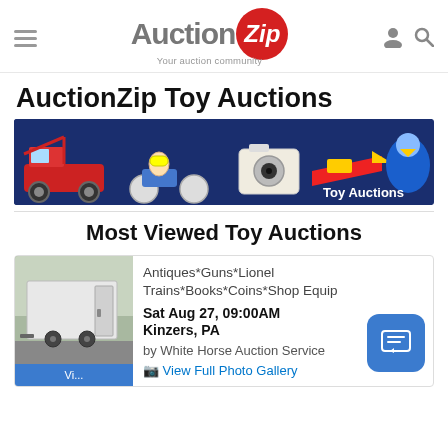AuctionZip — Your auction community
AuctionZip Toy Auctions
[Figure (illustration): Banner image showing vintage toy collectibles including red fire truck pedal car, motorcycle rider toy, camera toy, jet toy, and blue bird toy on dark navy background with 'Toy Auctions' text]
Most Viewed Toy Auctions
[Figure (photo): Thumbnail photo of a white enclosed cargo trailer]
Antiques*Guns*Lionel Trains*Books*Coins*Shop Equip
Sat Aug 27, 09:00AM
Kinzers, PA
by White Horse Auction Service
View Full Photo Gallery